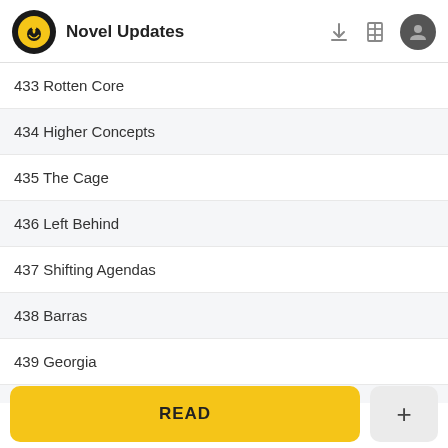Novel Updates
433 Rotten Core
434 Higher Concepts
435 The Cage
436 Left Behind
437 Shifting Agendas
438 Barras
439 Georgia
440 Built To Raid
READ
+